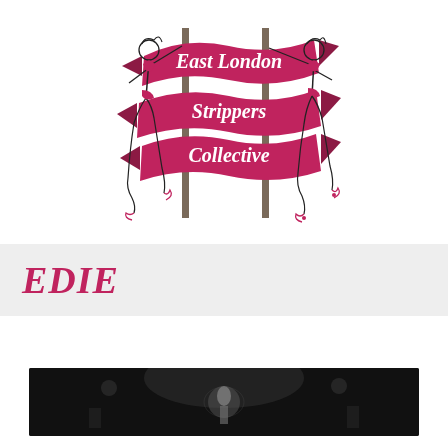[Figure (logo): East London Strippers Collective logo: two illustrated female figures on poles flanking three pink ribbon banners reading 'East London', 'Strippers', 'Collective']
EDIE
[Figure (photo): Black and white performance photo showing a figure on stage with lighting and equipment visible in the background]